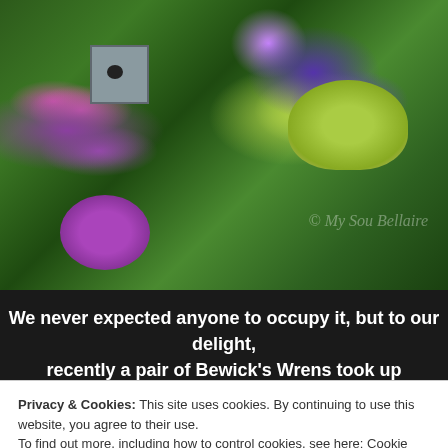[Figure (photo): Garden scene with hanging baskets of purple and pink flowers, a birdhouse, and lush green foliage in the background. Watermark text visible on the right side.]
We never expected anyone to occupy it, but to our delight, recently a pair of Bewick's Wrens took up residence.
Privacy & Cookies: This site uses cookies. By continuing to use this website, you agree to their use.
To find out more, including how to control cookies, see here: Cookie Policy
Close and accept